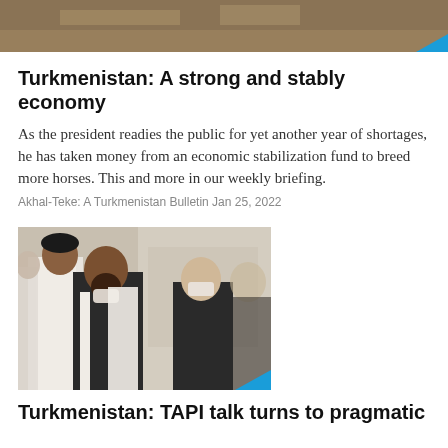[Figure (photo): Top partial image showing a landscape or outdoor scene with brownish tones, partially cropped]
Turkmenistan: A strong and stably economy
As the president readies the public for yet another year of shortages, he has taken money from an economic stabilization fund to breed more horses. This and more in our weekly briefing.
Akhal-Teke: A Turkmenistan Bulletin Jan 25, 2022
[Figure (photo): Photo of men in suits and traditional dress wearing face masks, appearing to be diplomats or officials meeting indoors]
Turkmenistan: TAPI talk turns to pragmatic